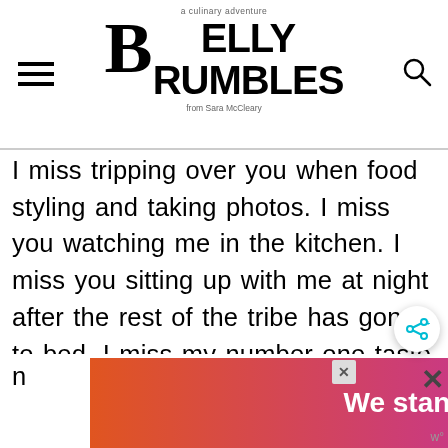Belly Rumbles — a culinary adventure — from Sara McCleary
I miss tripping over you when food styling and taking photos. I miss you watching me in the kitchen. I miss you sitting up with me at night after the rest of the tribe has gone to bed. I miss my number one taste tester. I miss my friend. I miss my partner in crime. Most of all, I miss your kind smiling eyes, your snuggles, nose
[Figure (other): Advertisement banner: 'We stand with you.' on gradient orange-to-purple background]